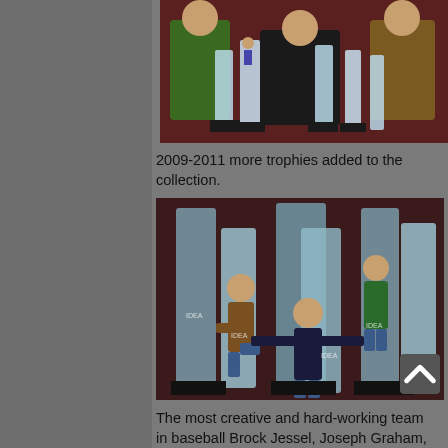[Figure (photo): Group photo of three men standing behind crystal/glass trophies, one in green shirt, one in dark shirt, one in brown striped shirt, posing with award trophies on a table]
2009-2011 more trophies added to the collection.
[Figure (photo): Three men posing playfully with large crystal IDEA award trophies, one on left kicking a trophy, one in center spreading arms wide between trophies, one on right sitting atop a trophy]
The most creative and hard-working team in baseball Brock Jessel, Joseph Graham, David Congdon (not pictured), and me.